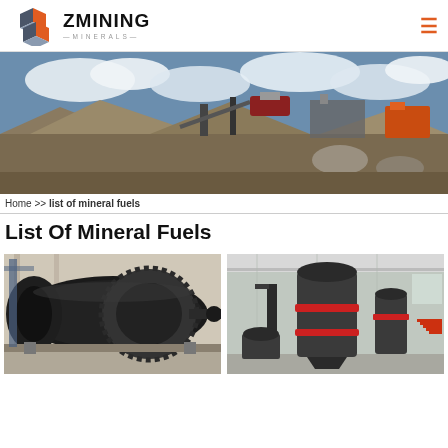ZMINING MINERALS
[Figure (photo): Outdoor mining operation site with industrial machinery, conveyor belts, and ore piles under a cloudy blue sky.]
Home >> list of mineral fuels
List Of Mineral Fuels
[Figure (photo): Close-up of a large industrial ball mill machine with a gear ring, indoors in a warehouse.]
[Figure (photo): Industrial vertical grinding mill machines inside a factory building with red accent components.]